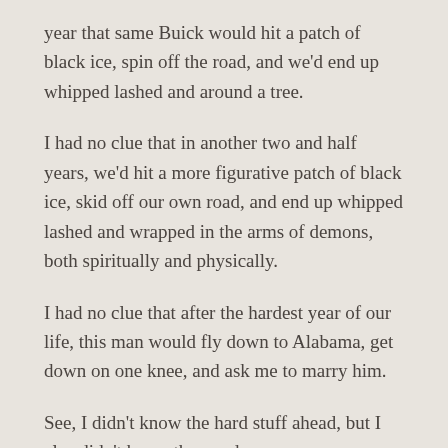year that same Buick would hit a patch of black ice, spin off the road, and we'd end up whipped lashed and around a tree.
I had no clue that in another two and half years, we'd hit a more figurative patch of black ice, skid off our own road, and end up whipped lashed and wrapped in the arms of demons, both spiritually and physically.
I had no clue that after the hardest year of our life, this man would fly down to Alabama, get down on one knee, and ask me to marry him.
See, I didn't know the hard stuff ahead, but I also didn't know the good.
I had no clue that we would meet up with these other